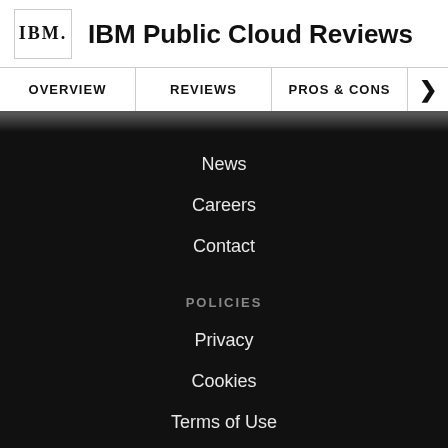IBM Public Cloud Reviews
OVERVIEW
REVIEWS
PROS & CONS
News
Careers
Contact
POLICIES
Privacy
Cookies
Terms of Use
Guidelines